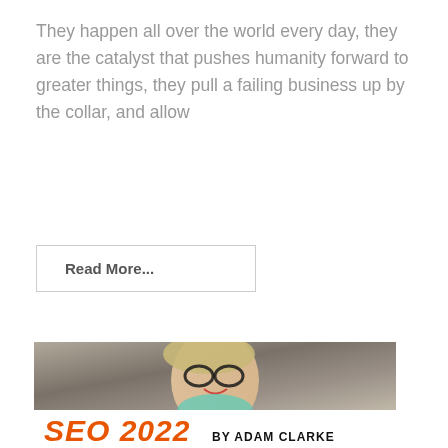They happen all over the world every day, they are the catalyst that pushes humanity forward to greater things, they pull a failing business up by the collar, and allow
Read More...
[Figure (illustration): Book cover image showing a smiling young woman with glasses and blonde hair against a gray background, with text overlay: SEO 2022 BY ADAM CLARKE, LEARN SEO FOR LESS THAN $7, #1 MOST POPULAR SEO GUIDE]